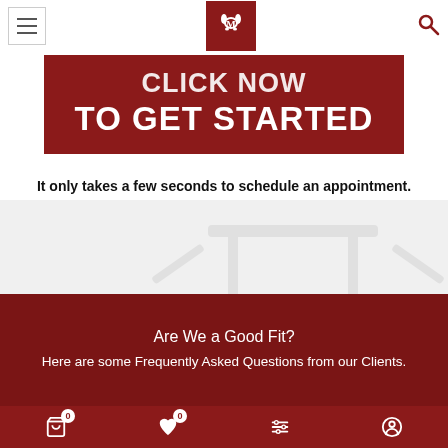Navigation bar with hamburger menu, M logo, and search icon
CLICK NOW TO GET STARTED
It only takes a few seconds to schedule an appointment.
[Figure (illustration): Faded background illustration of gym/fitness equipment legs]
Are We a Good Fit?
Here are some Frequently Asked Questions from our Clients.
Bottom toolbar with cart (0), wishlist (0), filter, and account icons